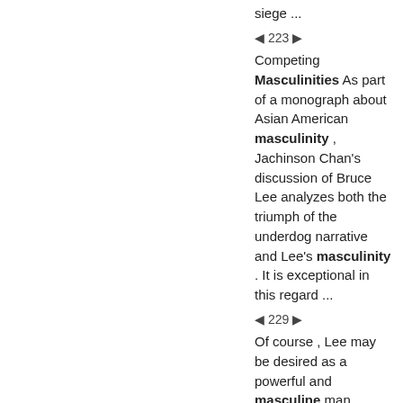siege ...
◀ 223 ▶
Competing Masculinities As part of a monograph about Asian American masculinity , Jachinson Chan's discussion of Bruce Lee analyzes both the triumph of the underdog narrative and Lee's masculinity . It is exceptional in this regard ...
◀ 229 ▶
Of course , Lee may be desired as a powerful and masculine man . Indeed , Tan Hoang Nguyen explains that ... Homophobia and its attendant anxieties are an integral component of